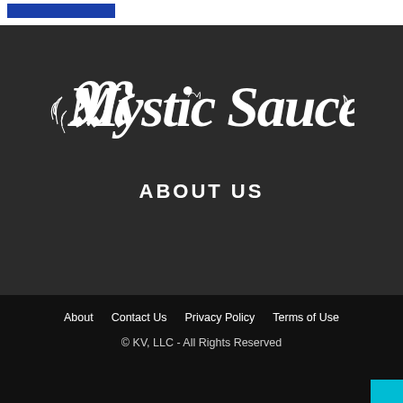[Figure (logo): Mystic Sauce logo in gothic/blackletter white script on dark background]
ABOUT US
About   Contact Us   Privacy Policy   Terms of Use
© KV, LLC - All Rights Reserved